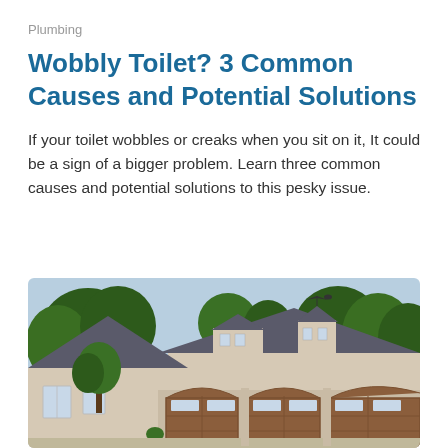Plumbing
Wobbly Toilet? 3 Common Causes and Potential Solutions
If your toilet wobbles or creaks when you sit on it, It could be a sign of a bigger problem. Learn three common causes and potential solutions to this pesky issue.
[Figure (photo): Exterior of a large suburban house with beige/grey siding, dark slate roof with dormers and a weather vane, three wood-panel garage doors with arched tops, trees in the background.]